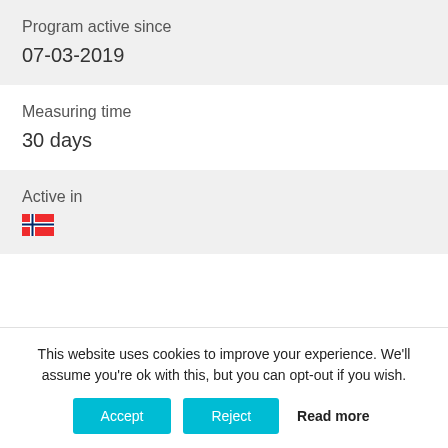Program active since
07-03-2019
Measuring time
30 days
Active in
[Figure (illustration): Norwegian flag icon]
This website uses cookies to improve your experience. We'll assume you're ok with this, but you can opt-out if you wish.
Accept | Reject | Read more